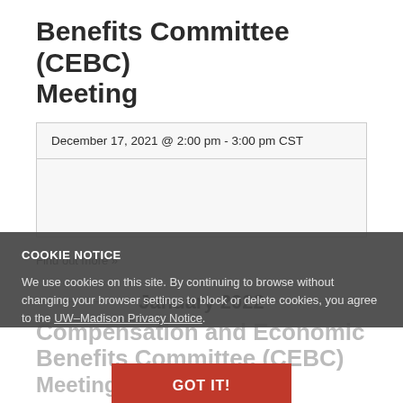Benefits Committee (CEBC) Meeting
December 17, 2021 @ 2:00 pm - 3:00 pm CST
Find out more »
January 2022
Compensation and Economic Benefits Committee (CEBC) Meeting
January 21 @ 2:00 pm - 3:00 pm
COOKIE NOTICE
We use cookies on this site. By continuing to browse without changing your browser settings to block or delete cookies, you agree to the UW–Madison Privacy Notice.
GOT IT!